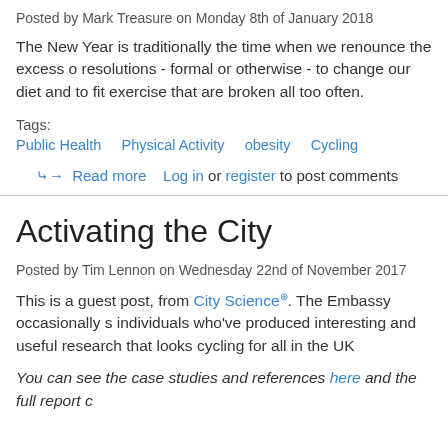Posted by Mark Treasure on Monday 8th of January 2018
The New Year is traditionally the time when we renounce the excess of resolutions - formal or otherwise - to change our diet and to fit exercise that are broken all too often.
Tags:
Public Health   Physical Activity   obesity   Cycling
Read more   Log in or register to post comments
Activating the City
Posted by Tim Lennon on Wednesday 22nd of November 2017
This is a guest post, from City Science. The Embassy occasionally s individuals who've produced interesting and useful research that looks cycling for all in the UK
You can see the case studies and references here and the full report c